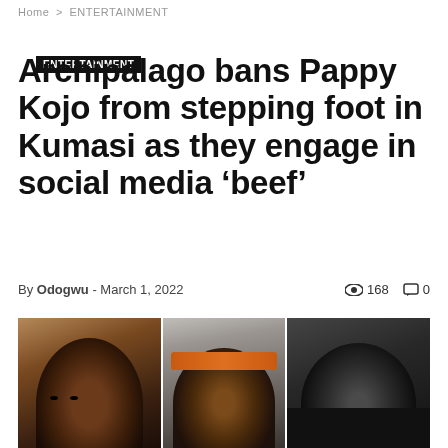Home > ENTERTAINMENT
ENTERTAINMENT
Archipalago bans Pappy Kojo from stepping foot in Kumasi as they engage in social media ‘beef’
By Odogwu - March 1, 2022   168   0
[Figure (photo): Three-panel composite photo: left panel shows a man looking at camera with brown background; center panel shows a person wearing an orange bandana; right panel shows a person in a black hoodie in desaturated/black-and-white style.]